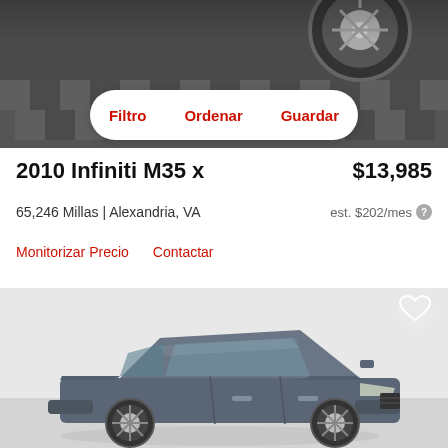[Figure (screenshot): Top portion of a car listing app showing a dark background photo of car wheels on checkered floor]
Filtro   Ordenar   Guardar
2010 Infiniti M35 x   $13,985
65,246 Millas | Alexandria, VA   est. $202/mes
Monitorizar Precio   Contactar
[Figure (photo): Photo of a 2010 Infiniti M35 x in dark blue/gray color, three-quarter front view in a studio-style setting with white walls and gray floor. Heart/favorite icon in top right corner.]